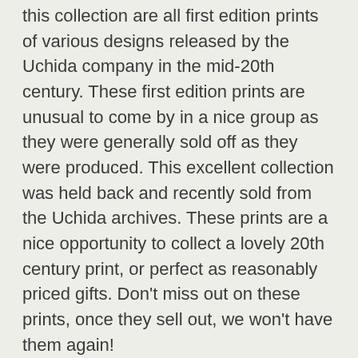this collection are all first edition prints of various designs released by the Uchida company in the mid-20th century. These first edition prints are unusual to come by in a nice group as they were generally sold off as they were produced. This excellent collection was held back and recently sold from the Uchida archives. These prints are a nice opportunity to collect a lovely 20th century print, or perfect as reasonably priced gifts. Don't miss out on these prints, once they sell out, we won't have them again!
Comments - Attractive image of several rosy finches next to a wild rose with a rosy pink blossom. The feathers of the birds are wonderfully detailed and softly colored with yellow and rose. Lovely delicate line work in this handsome design.